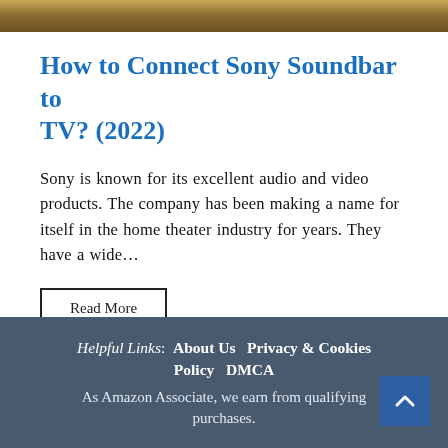[Figure (photo): Decorative image bar — golden/brown wood-like texture strip at top of page]
How to Connect Sony Soundbar to TV? (2022)
Sony is known for its excellent audio and video products. The company has been making a name for itself in the home theater industry for years. They have a wide…
Read More
Helpful Links: About Us  Privacy & Cookies Policy  DMCA  As Amazon Associate, we earn from qualifying purchases.